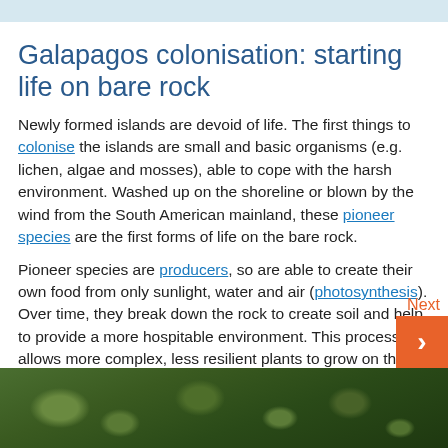Galapagos colonisation: starting life on bare rock
Newly formed islands are devoid of life. The first things to colonise the islands are small and basic organisms (e.g. lichen, algae and mosses), able to cope with the harsh environment. Washed up on the shoreline or blown by the wind from the South American mainland, these pioneer species are the first forms of life on the bare rock.
Pioneer species are producers, so are able to create their own food from only sunlight, water and air (photosynthesis). Over time, they break down the rock to create soil and help to provide a more hospitable environment. This process allows more complex, less resilient plants to grow on the island.
[Figure (photo): Close-up photograph of plant/lichen growth on rock, green vegetation against dark background]